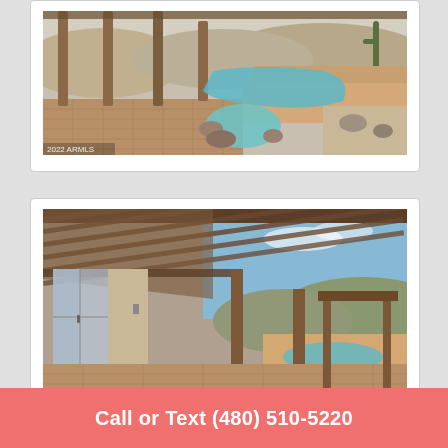[Figure (photo): Outdoor pool and spa area with covered pergola columns, brick paver patio, freeform pool with attached spa, desert rocks and gravel landscaping, stucco wall perimeter, desert hills in background. Watermark: 2022 ARMLS.]
[Figure (photo): Covered patio with exposed wood beam ceiling, view looking out toward secondary pergola structure with columns, pool visible in background, glass sliding doors on left, desert hillside and blue sky visible beyond, brick paver flooring.]
Call or Text (480) 510-5220